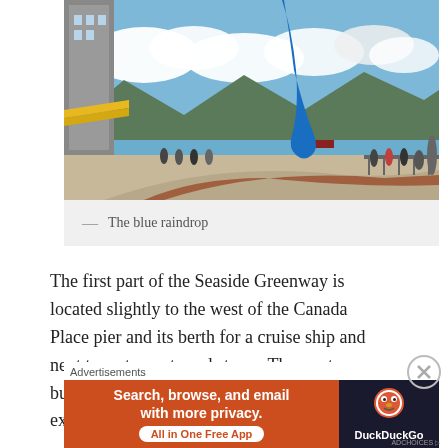[Figure (photo): Outdoor waterfront scene with a large blue raindrop sculpture, people walking on a promenade, mountains and water in the background, modern building on the left side with yellow awnings]
— The blue raindrop
The first part of the Seaside Greenway is located slightly to the west of the Canada Place pier and its berth for a cruise ship and next to restaurants and stores. The west building of the Vancouver Convention Centre extends over the top of the stores
Advertisements
[Figure (screenshot): DuckDuckGo advertisement banner: 'Search, browse, and email with more privacy. All in One Free App' with DuckDuckGo logo on dark background]